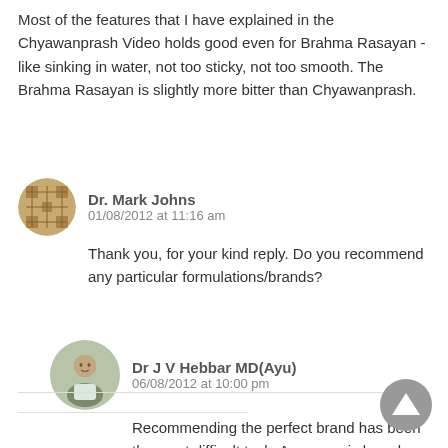Most of the features that I have explained in the Chyawanprash Video holds good even for Brahma Rasayan - like sinking in water, not too sticky, not too smooth. The Brahma Rasayan is slightly more bitter than Chyawanprash.
Dr. Mark Johns
01/08/2012 at 11:16 am
Thank you, for your kind reply. Do you recommend any particular formulations/brands?
Dr J V Hebbar MD(Ayu)
06/08/2012 at 10:00 pm
Recommending the perfect brand has been the most difficult task. Any organic brand should be safer.